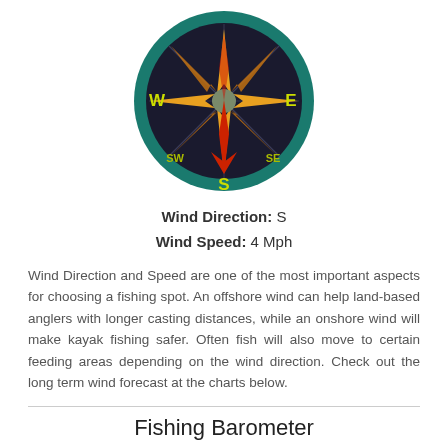[Figure (illustration): Compass rose showing wind direction pointing South (S). Circle with teal/dark green ring, dark background. Cardinal labels W (yellow-green), E (yellow-green), S (yellow-green), SW and SE (smaller). Orange and red compass needle pointing south, decorative star shape in center.]
Wind Direction:  S
Wind Speed:  4 Mph
Wind Direction and Speed are one of the most important aspects for choosing a fishing spot. An offshore wind can help land-based anglers with longer casting distances, while an onshore wind will make kayak fishing safer. Often fish will also move to certain feeding areas depending on the wind direction. Check out the long term wind forecast at the charts below.
Fishing Barometer
[Figure (illustration): Partial view of a circular fishing barometer gauge with yellow-green background, numbers 6 7 8 9 30 visible on the scale.]